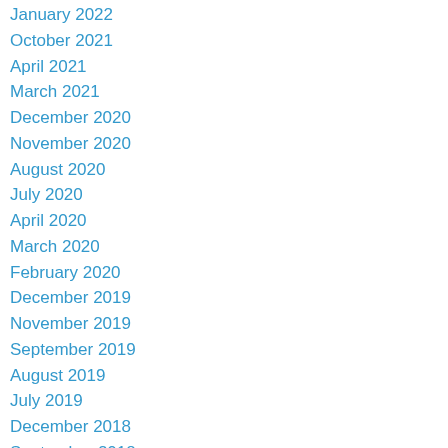January 2022
October 2021
April 2021
March 2021
December 2020
November 2020
August 2020
July 2020
April 2020
March 2020
February 2020
December 2019
November 2019
September 2019
August 2019
July 2019
December 2018
September 2018
August 2018
July 2018
May 2018